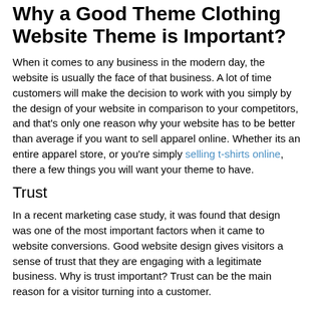Why a Good Theme Clothing Website Theme is Important?
When it comes to any business in the modern day, the website is usually the face of that business. A lot of time customers will make the decision to work with you simply by the design of your website in comparison to your competitors, and that's only one reason why your website has to be better than average if you want to sell apparel online. Whether its an entire apparel store, or you're simply selling t-shirts online, there a few things you will want your theme to have.
Trust
In a recent marketing case study, it was found that design was one of the most important factors when it came to website conversions. Good website design gives visitors a sense of trust that they are engaging with a legitimate business. Why is trust important? Trust can be the main reason for a visitor turning into a customer.